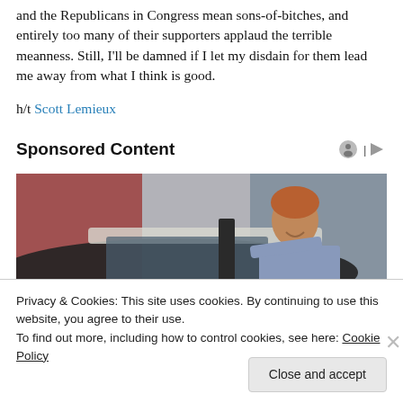and the Republicans in Congress mean sons-of-bitches, and entirely too many of their supporters applaud the terrible meanness. Still, I'll be damned if I let my disdain for them lead me away from what I think is good.
h/t Scott Lemieux
Sponsored Content
[Figure (photo): Man leaning over and looking into a car window, wearing a blue shirt, in what appears to be an auto dealership setting.]
Privacy & Cookies: This site uses cookies. By continuing to use this website, you agree to their use.
To find out more, including how to control cookies, see here: Cookie Policy
Close and accept